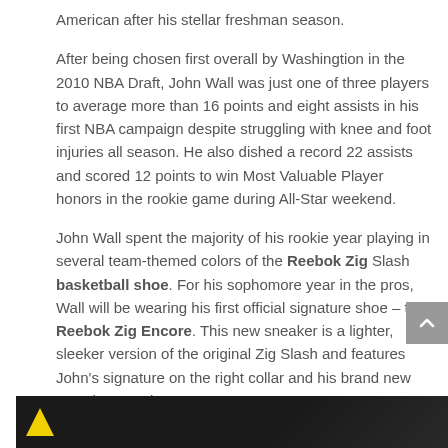American after his stellar freshman season.
After being chosen first overall by Washingtion in the 2010 NBA Draft, John Wall was just one of three players to average more than 16 points and eight assists in his first NBA campaign despite struggling with knee and foot injuries all season. He also dished a record 22 assists and scored 12 points to win Most Valuable Player honors in the rookie game during All-Star weekend.
John Wall spent the majority of his rookie year playing in several team-themed colors of the Reebok Zig Slash basketball shoe. For his sophomore year in the pros, Wall will be wearing his first official signature shoe – the Reebok Zig Encore. This new sneaker is a lighter, sleeker version of the original Zig Slash and features John's signature on the right collar and his brand new "JW" logo on the tongue.
[Figure (photo): Bottom portion of a dark/black image, partially visible, appears to be a shoe or sports-related photo with a yellow triangular shape visible on the left side.]